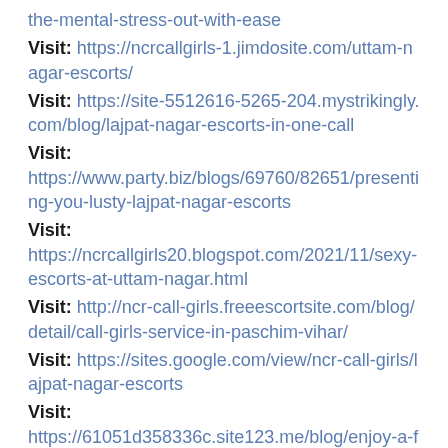the-mental-stress-out-with-ease
Visit: https://ncrcallgirls-1.jimdosite.com/uttam-nagar-escorts/
Visit: https://site-5512616-5265-204.mystrikingly.com/blog/lajpat-nagar-escorts-in-one-call
Visit: https://www.party.biz/blogs/69760/82651/presenting-you-lusty-lajpat-nagar-escorts
Visit: https://ncrcallgirls20.blogspot.com/2021/11/sexy-escorts-at-uttam-nagar.html
Visit: http://ncr-call-girls.freeescortsite.com/blog/detail/call-girls-service-in-paschim-vihar/
Visit: https://sites.google.com/view/ncr-call-girls/lajpat-nagar-escorts
Visit: https://61051d358336c.site123.me/blog/enjoy-a-fun-night-with-paschim-vihar-escorts
Visit: https://sites.google.com/view/lajpatnagare